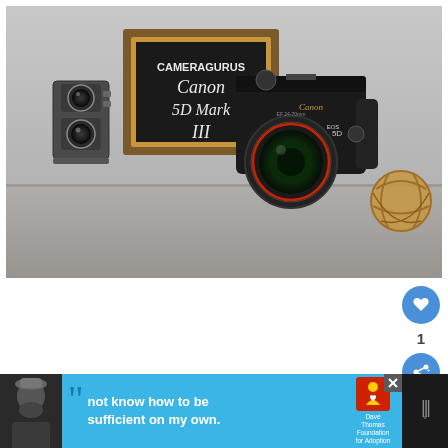[Figure (photo): Photo of a Canon EOS 5D Mark III DSLR camera on a table next to a vintage twin-lens reflex camera, a chalkboard sign reading 'CAMERAGURUS Canon 5D Mark III', and a wicker ball decoration. The background is a grey concrete wall.]
[Figure (screenshot): Like button (blue circle with heart icon) and share button (blue circle with share icon) on the right side, with the number '1' between them.]
[Figure (infographic): Advertisement banner at the bottom with dark background. Shows a person in a beanie hat on the left, a blue panel with quote marks and text 'not know how to be sufficient on my own.', a Dave Thomas Foundation for Adoption logo, a close button, and a weather app logo on the far right.]